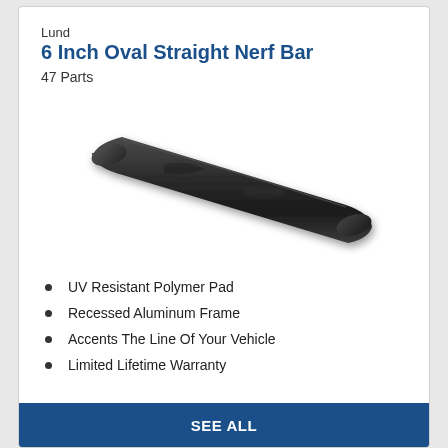Lund
6 Inch Oval Straight Nerf Bar
47 Parts
[Figure (photo): A black 6 inch oval straight nerf bar shown diagonally from upper-left to lower-right against a white background.]
UV Resistant Polymer Pad
Recessed Aluminum Frame
Accents The Line Of Your Vehicle
Limited Lifetime Warranty
SEE ALL